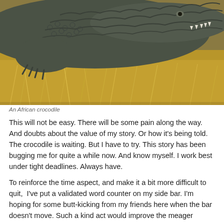[Figure (photo): Close-up photograph of an African crocodile resting on dry grass/straw. The crocodile's scaly head and claws are visible in the foreground with its mouth slightly open showing teeth.]
An African crocodile
This will not be easy. There will be some pain along the way. And doubts about the value of my story. Or how it's being told. The crocodile is waiting. But I have to try. This story has been bugging me for quite a while now. And know myself. I work best under tight deadlines. Always have.
To reinforce the time aspect, and make it a bit more difficult to quit, I've put a validated word counter on my side bar. I'm hoping for some butt-kicking from my friends here when the bar doesn't move. Such a kind act would improve the meager